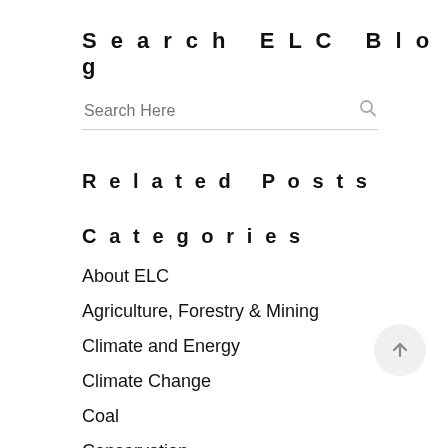Search ELC Blog
Related Posts
Categories
About ELC
Agriculture, Forestry & Mining
Climate and Energy
Climate Change
Coal
Conservation